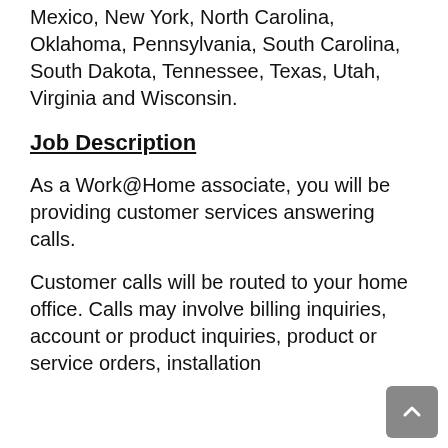Mexico, New York, North Carolina, Oklahoma, Pennsylvania, South Carolina, South Dakota, Tennessee, Texas, Utah, Virginia and Wisconsin.
Job Description
As a Work@Home associate, you will be providing customer services answering calls.
Customer calls will be routed to your home office. Calls may involve billing inquiries, account or product inquiries, product or service orders, installation